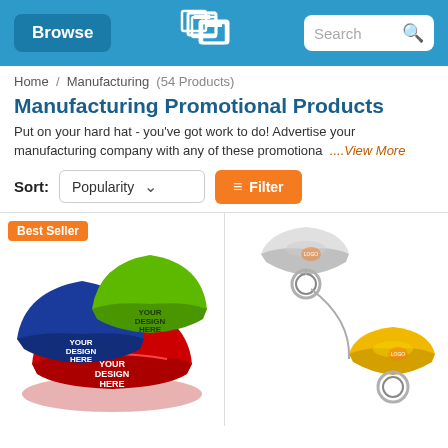Browse | [Logo] | Search
Home / Manufacturing (54 Products)
Manufacturing Promotional Products
Put on your hard hat - you've got work to do! Advertise your manufacturing company with any of these promotiona ....View More
Sort: Popularity ∨   ⊟ Filter
[Figure (photo): Three hard hats in blue, green, and red colors with 'YOUR DESIGN HERE' text, labeled Best Seller]
[Figure (photo): Two mini hard hat keychains in white and yellow with logo imprint and metal key rings]